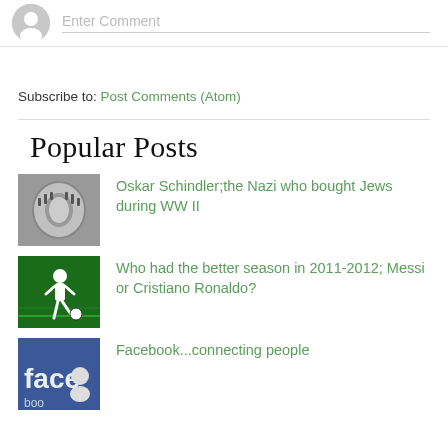Enter Comment
Subscribe to: Post Comments (Atom)
Popular Posts
Oskar Schindler;the Nazi who bought Jews during WW II
Who had the better season in 2011-2012; Messi or Cristiano Ronaldo?
Facebook...connecting people